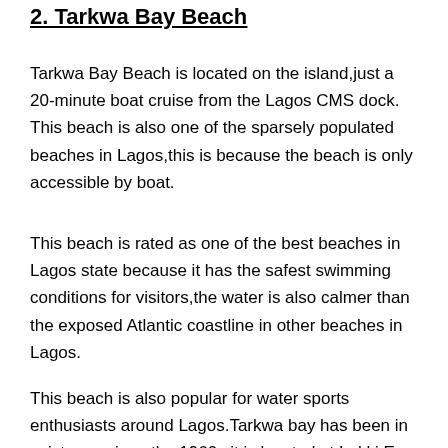2. Tarkwa Bay Beach
Tarkwa Bay Beach is located on the island,just a 20-minute boat cruise from the Lagos CMS dock. This beach is also one of the sparsely populated beaches in Lagos,this is because the beach is only accessible by boat.
This beach is rated as one of the best beaches in Lagos state because it has the safest swimming conditions for visitors,the water is also calmer than the exposed Atlantic coastline in other beaches in Lagos.
This beach is also popular for water sports enthusiasts around Lagos.Tarkwa bay has been in existence since the 1960s,it is located at Lekki Epe